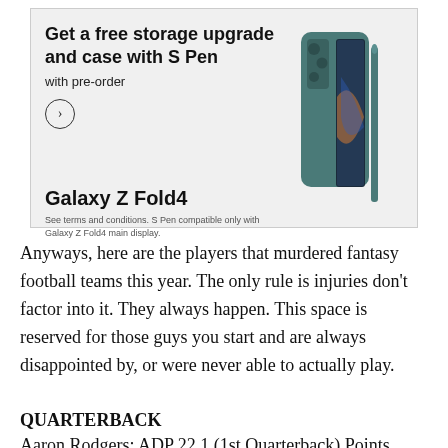[Figure (advertisement): Samsung Galaxy Z Fold4 advertisement. Text reads 'Get a free storage upgrade and case with S Pen with pre-order' with a right-arrow circle button and an image of the Galaxy Z Fold4 phone with S Pen. Product name 'Galaxy Z Fold4' in bold. Fine print: 'See terms and conditions. S Pen compatible only with Galaxy Z Fold4 main display.']
Anyways, here are the players that murdered fantasy football teams this year. The only rule is injuries don't factor into it. They always happen. This space is reserved for those guys you start and are always disappointed by, or were never able to actually play.
QUARTERBACK
Aaron Rodgers: ADP 22.1 (1st Quarterback) Points